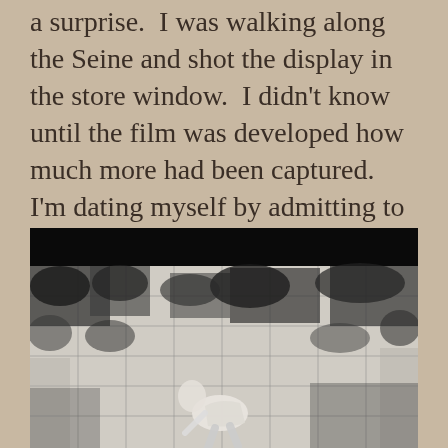a surprise.  I was walking along the Seine and shot the display in the store window.  I didn't know until the film was developed how much more had been captured.  I'm dating myself by admitting to film.  It was a while ago!
[Figure (photo): A black and white photograph showing a store window display along the Seine. The image has a dark band at the top and shows a figure (appears to be a mannequin or sculpture) in white against a complex background of foliage and grid-like window reflections.]